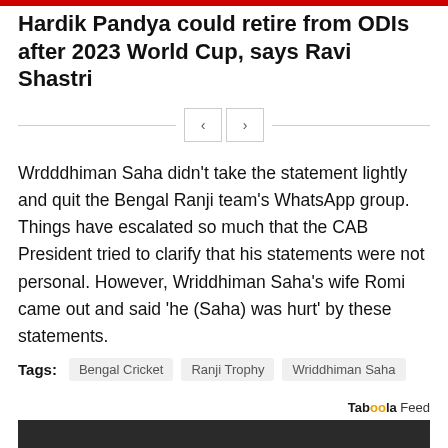Hardik Pandya could retire from ODIs after 2023 World Cup, says Ravi Shastri
Wrdddhiman Saha didn't take the statement lightly and quit the Bengal Ranji team's WhatsApp group. Things have escalated so much that the CAB President tried to clarify that his statements were not personal. However, Wriddhiman Saha's wife Romi came out and said 'he (Saha) was hurt' by these statements.
Tags: Bengal Cricket  Ranji Trophy  Wriddhiman Saha
Taboola Feed
[Figure (photo): Black and white photo partially visible at bottom of page]